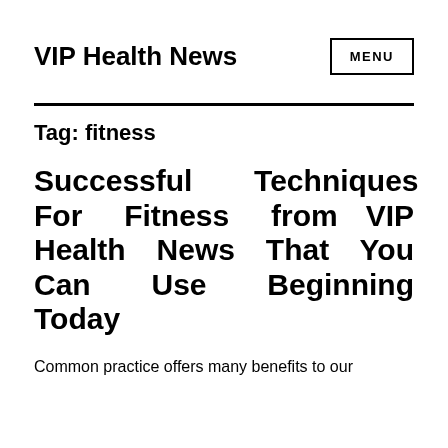VIP Health News
Tag: fitness
Successful Techniques For Fitness from VIP Health News That You Can Use Beginning Today
Common practice offers many benefits to our